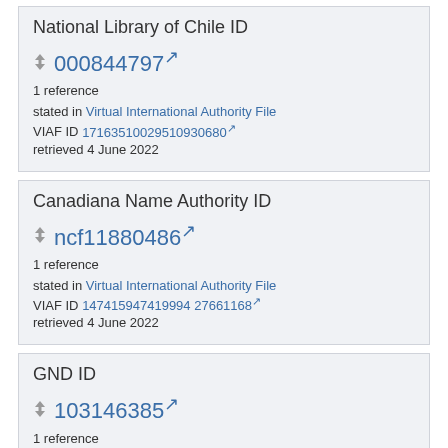National Library of Chile ID
000844797 [external link]
1 reference
stated in Virtual International Authority File
VIAF ID 17163510029510930680 [external link]
retrieved 4 June 2022
Canadiana Name Authority ID
ncf11880486 [external link]
1 reference
stated in Virtual International Authority File
VIAF ID 147415947419994 27661168 [external link]
retrieved 4 June 2022
GND ID
103146385 [external link]
1 reference
imported from Wikimedia project German Wikipedia